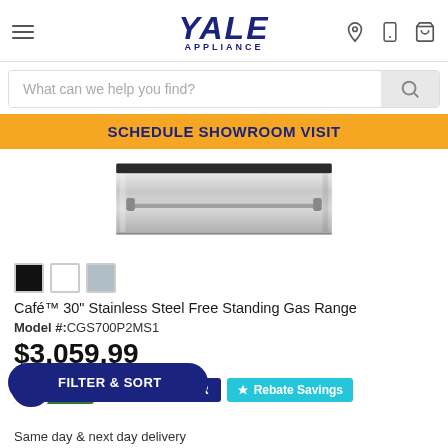Yale Appliance
What can we help you find?
SCHEDULE SHOWROOM VISIT
[Figure (photo): Stainless steel drawer/warming drawer appliance component, silver metallic finish with handle bar]
Color swatches: black, white, silver/grey
Café™ 30" Stainless Steel Free Standing Gas Range
Model #: CGS700P2MS1
$3,059.99
MOST POPULAR   Rebate Savings
FILTER & SORT
Same day & next day delivery